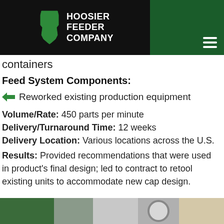HOOSIER FEEDER COMPANY
containers
Feed System Components:
Reworked existing production equipment
Volume/Rate: 450 parts per minute
Delivery/Turnaround Time: 12 weeks
Delivery Location: Various locations across the U.S.
Results: Provided recommendations that were used in product's final design; led to contract to retool existing units to accommodate new cap design.
[Figure (photo): Photo strip at bottom showing industrial/manufacturing equipment images]